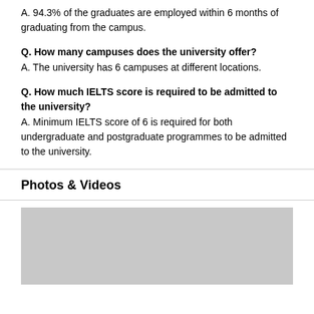A. 94.3% of the graduates are employed within 6 months of graduating from the campus.
Q. How many campuses does the university offer?
A. The university has 6 campuses at different locations.
Q. How much IELTS score is required to be admitted to the university?
A. Minimum IELTS score of 6 is required for both undergraduate and postgraduate programmes to be admitted to the university.
Photos & Videos
[Figure (photo): A gray placeholder image for Photos & Videos section]